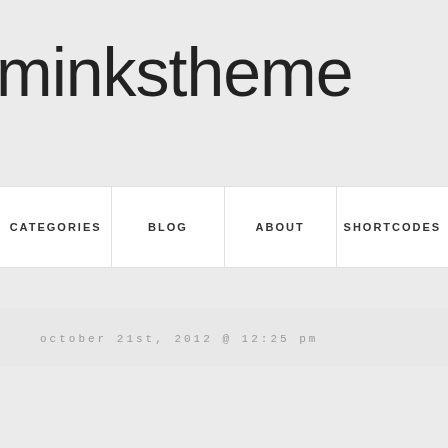minkstheme
CATEGORIES | BLOG | ABOUT | SHORTCODES
october 21st, 2012 @ 12:25 pm